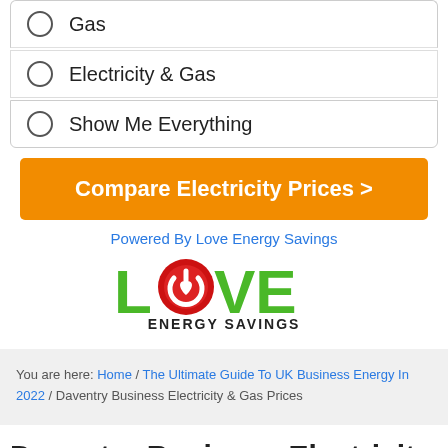Gas
Electricity & Gas
Show Me Everything
Compare Electricity Prices >
Powered By Love Energy Savings
[Figure (logo): Love Energy Savings logo with green text LOVE (O replaced by red power button icon) and bold black ENERGY SAVINGS text below]
You are here: Home / The Ultimate Guide To UK Business Energy In 2022 / Daventry Business Electricity & Gas Prices
Daventry Business Electricity